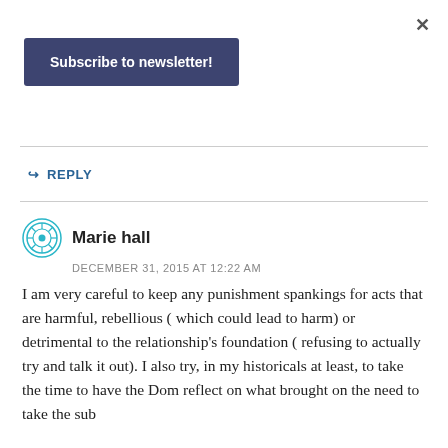[Figure (other): Close button (×) in top right corner of a modal or popup]
[Figure (other): Dark navy blue button labeled 'Subscribe to newsletter!']
↳ REPLY
[Figure (other): User avatar icon — teal circular geometric design]
Marie hall
DECEMBER 31, 2015 AT 12:22 AM
I am very careful to keep any punishment spankings for acts that are harmful, rebellious ( which could lead to harm) or detrimental to the relationship's foundation ( refusing to actually try and talk it out). I also try, in my historicals at least, to take the time to have the Dom reflect on what brought on the need to take the sub